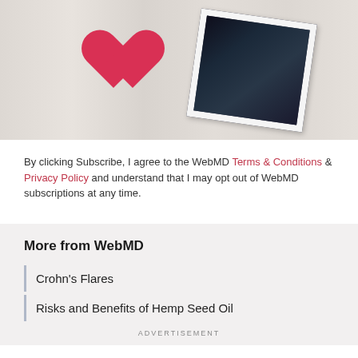[Figure (photo): Photo of a red heart-shaped object and an ultrasound image on a light wood-textured surface]
By clicking Subscribe, I agree to the WebMD Terms & Conditions & Privacy Policy and understand that I may opt out of WebMD subscriptions at any time.
More from WebMD
Crohn's Flares
Risks and Benefits of Hemp Seed Oil
ADVERTISEMENT